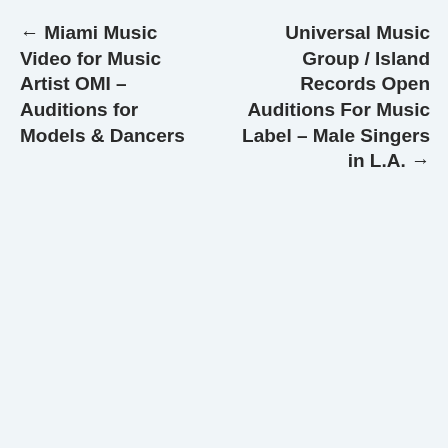← Miami Music Video for Music Artist OMI – Auditions for Models & Dancers
Universal Music Group / Island Records Open Auditions For Music Label – Male Singers in L.A. →